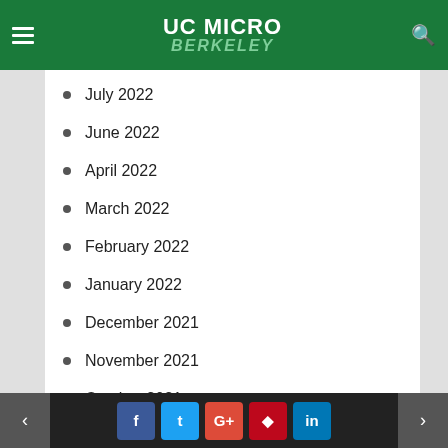UC MICRO
July 2022
June 2022
April 2022
March 2022
February 2022
January 2022
December 2021
November 2021
October 2021
September 2021
< f t G+ ♦ in >